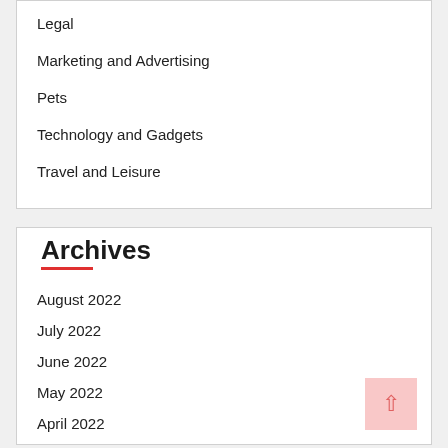Legal
Marketing and Advertising
Pets
Technology and Gadgets
Travel and Leisure
Archives
August 2022
July 2022
June 2022
May 2022
April 2022